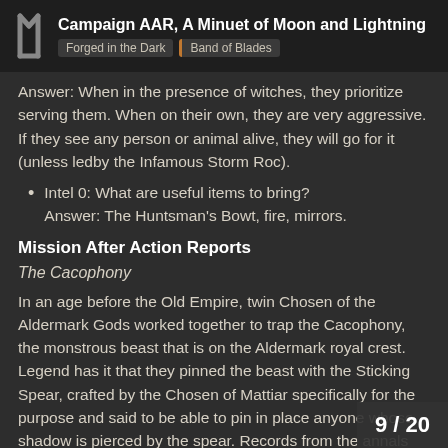Campaign AAR, A Minuet of Moon and Lightning | Forged in the Dark | Band of Blades
Answer: When in the presence of witches, they prioritize serving them. When on their own, they are very aggressive. If they see any person or animal alive, they will go for it (unless ledby the Infamous Storm Roc).
Intel 0: What are useful items to bring?
Answer: The Huntsman's Bowt, fire, mirrors.
Mission After Action Reports
The Cacophony
In an age before the Old Empire, twin Chosen of the Aldermark Gods worked together to trap the Cacophony, the monstrous beast that is on the Aldermark royal crest. Legend has it that they pinned the beast with the Sticking Spear, crafted by the Chosen of Mattiar specifically for the purpose and said to be able to pin in place anyone whose shadow is pierced by the spear. Records from the annals told of a c... Duresh forest in which the sounds of thun
9 / 20